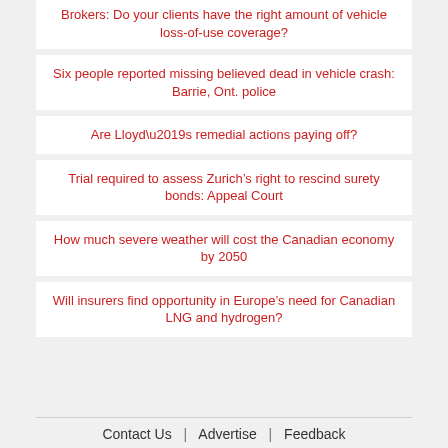Brokers: Do your clients have the right amount of vehicle loss-of-use coverage?
Six people reported missing believed dead in vehicle crash: Barrie, Ont. police
Are Lloyd’s remedial actions paying off?
Trial required to assess Zurich’s right to rescind surety bonds: Appeal Court
How much severe weather will cost the Canadian economy by 2050
Will insurers find opportunity in Europe’s need for Canadian LNG and hydrogen?
Contact Us | Advertise | Feedback